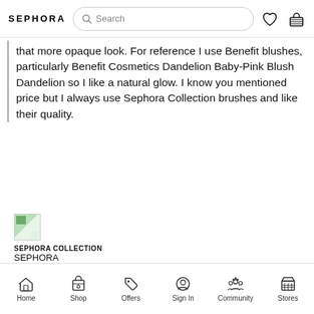SEPHORA
that more opaque look. For reference I use Benefit blushes, particularly Benefit Cosmetics Dandelion Baby-Pink Blush Dandelion so I like a natural glow. I know you mentioned price but I always use Sephora Collection brushes and like their quality.
SEPHORA COLLECTION
SEPHORA COLLECTION PRO
Powder Brush #59
Face Brushes
$34.00
View products (1)
Home  Shop  Offers  Sign In  Community  Stores